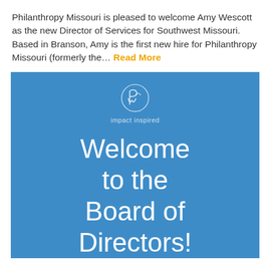Philanthropy Missouri is pleased to welcome Amy Wescott as the new Director of Services for Southwest Missouri. Based in Branson, Amy is the first new hire for Philanthropy Missouri (formerly the… Read More
[Figure (logo): Philanthropy Missouri logo on blue background — circular logo with stylized 'P' and 'w' letters, text 'impact inspired' below the circle, and large white text 'Welcome to the Board of Directors!' below]